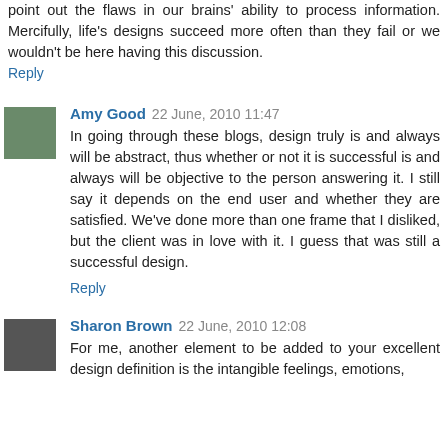point out the flaws in our brains' ability to process information. Mercifully, life's designs succeed more often than they fail or we wouldn't be here having this discussion.
Reply
Amy Good 22 June, 2010 11:47
In going through these blogs, design truly is and always will be abstract, thus whether or not it is successful is and always will be objective to the person answering it. I still say it depends on the end user and whether they are satisfied. We've done more than one frame that I disliked, but the client was in love with it. I guess that was still a successful design.
Reply
Sharon Brown 22 June, 2010 12:08
For me, another element to be added to your excellent design definition is the intangible feelings, emotions,